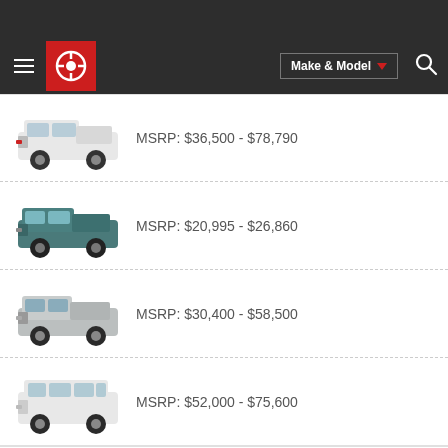Car Guide - Make & Model navigation header with logo
MSRP: $36,500 - $78,790
MSRP: $20,995 - $26,860
MSRP: $30,400 - $58,500
MSRP: $52,000 - $75,600